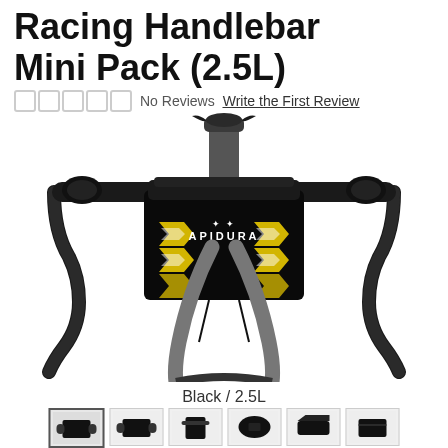Racing Handlebar Mini Pack (2.5L)
No Reviews   Write the First Review
[Figure (photo): Apidura Racing Handlebar Mini Pack (2.5L) mounted on a road bike handlebar. The black bag features yellow and white chevron/arrow patterns and the Apidura logo with a bee icon. The bike has drop handlebars with black bar tape and STI shifters.]
Black / 2.5L
[Figure (photo): Row of 6 product thumbnail images showing different views of the Apidura Racing Handlebar Mini Pack]